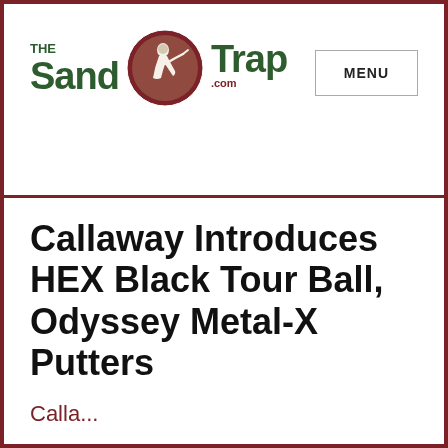[Figure (logo): The Sand Trap .com logo with golfer silhouette in circle between 'Sand' and 'Trap' text in dark green]
MENU
Callaway Introduces HEX Black Tour Ball, Odyssey Metal-X Putters
Callaway...